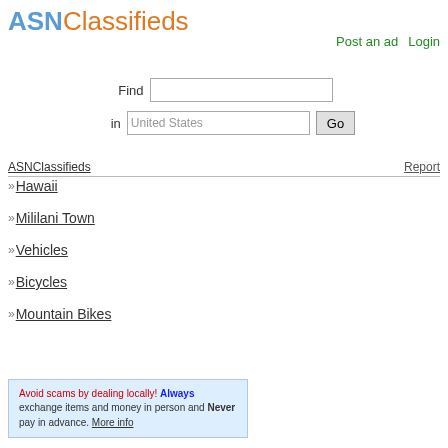ASNClassifieds
Post an ad   Login
Find  [input]  in  United States  Go
ASNClassifieds   Report
>> Hawaii
>> Mililani Town
>> Vehicles
>> Bicycles
>> Mountain Bikes
Avoid scams by dealing locally! Always exchange items and money in person and Never pay in advance. More info